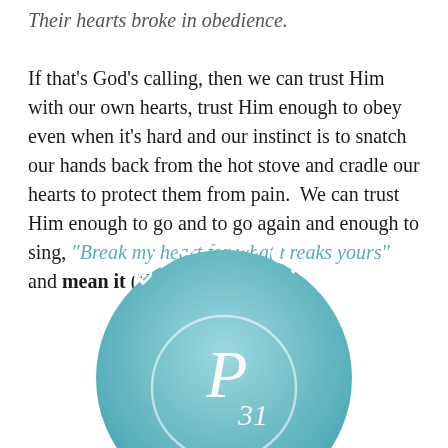Their hearts broke in obedience. If that's God's calling, then we can trust Him with our own hearts, trust Him enough to obey even when it's hard and our instinct is to snatch our hands back from the hot stove and cradle our hearts to protect them from pain. We can trust Him enough to go and to go again and enough to sing, "Break my heart for what breaks yours" and mean it (Hillsong United).
[Figure (logo): Circular teal gradient badge with 'BLOG HOP' text arched at top and a stylized 'P31' monogram in the center circle]